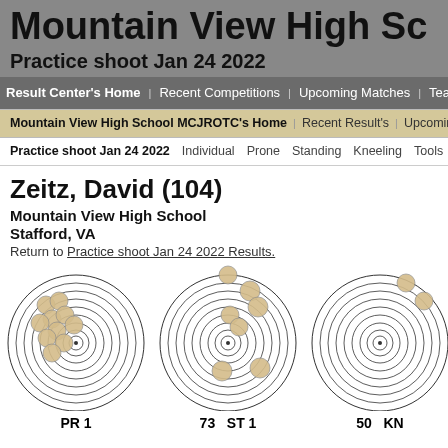Mountain View High Sc
Practice shoot Jan 24 2022
Result Center's Home | Recent Competitions | Upcoming Matches | Tea...
Mountain View High School MCJROTC's Home | Recent Result's | Upcoming Matc...
Practice shoot Jan 24 2022 | Individual | Prone | Standing | Kneeling | Tools
Zeitz, David (104)
Mountain View High School
Stafford, VA
Return to Practice shoot Jan 24 2022 Results.
[Figure (other): Shooting target diagram 1 (PR 1) with multiple bullet holes clustered upper-left area]
[Figure (other): Shooting target diagram 2 (ST 1, score 73) with 6 bullet holes scattered]
[Figure (other): Shooting target diagram 3 (KN...) partially visible, with bullet holes upper area]
PR 1
73   ST 1
50   KN